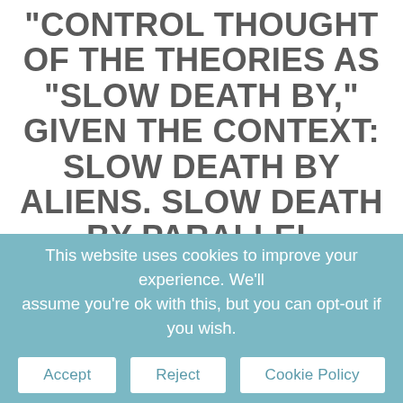“Control thought of the theories as “Slow Death By,” given the context: Slow Death By Aliens. Slow Death By Parallel Universe. Slow Death By Malign Unknown Time-Traveling Force. Slow Death By Invasion From An Alternate Earth. Slow Death By Wildly Divergent Technology Or The Shadow Biosphere Or Symbiosis Or Iconography Or
This website uses cookies to improve your experience. We’ll assume you’re ok with this, but you can opt-out if you wish.
Accept
Reject
Cookie Policy